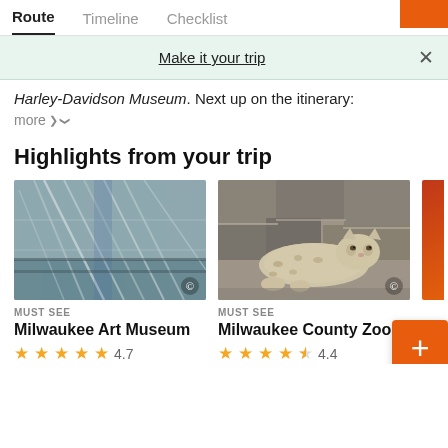Route  Timeline  Checklist
Make it your trip
Harley-Davidson Museum. Next up on the itinerary:
more ˅
Highlights from your trip
[Figure (photo): Interior architectural photo of Milwaukee Art Museum showing white latticework structure]
MUST SEE
Milwaukee Art Museum
★★★★★ 4.7
[Figure (photo): Snow leopard resting on rocks at Milwaukee County Zoo]
MUST SEE
Milwaukee County Zoo
★★★★½ 4.4